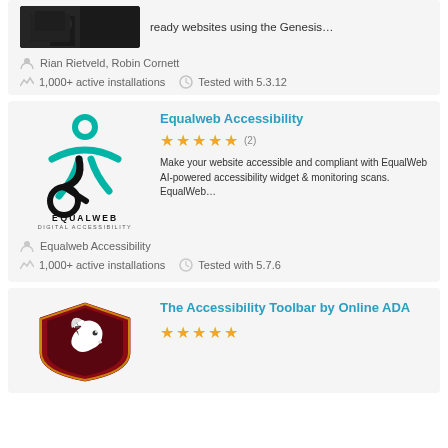[Figure (photo): Partial top card with a dark background image thumbnail on the left and text 'ready websites using the Genesis...' on the right]
ready websites using the Genesis…
Rian Rietveld, Robin Cornett
1,000+ active installations   Tested with 5.3.12
[Figure (logo): EqualWeb Digital Accessibility logo — teal/blue accessibility icon person and black EQUALWEB DIGITAL ACCESSIBILITY text]
Equalweb Accessibility
★★★★★ (2)
Make your website accessible and compliant with EqualWeb AI-powered accessibility widget & monitoring scans. EqualWeb…
Equalweb Accessibility
1,000+ active installations   Tested with 5.7.6
[Figure (logo): The Accessibility Toolbar by Online ADA logo — horse head in shield emblem]
The Accessibility Toolbar by Online ADA